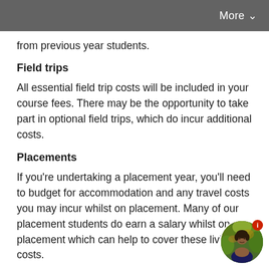More
from previous year students.
Field trips
All essential field trip costs will be included in your course fees. There may be the opportunity to take part in optional field trips, which do incur additional costs.
Placements
If you're undertaking a placement year, you'll need to budget for accommodation and any travel costs you may incur whilst on placement. Many of our placement students do earn a salary whilst on placement which can help to cover these living costs.
[Figure (photo): Circular avatar photo of a woman with dark hair, outdoors with autumn foliage background, with a red info badge overlay]